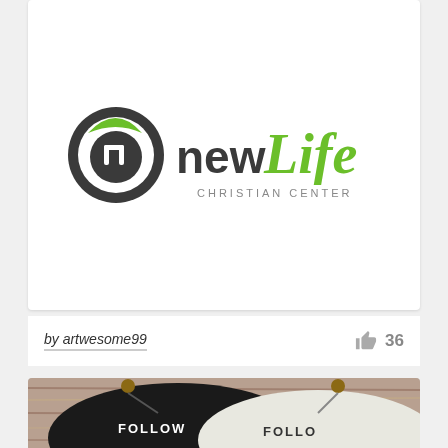[Figure (logo): New Life Christian Center logo — circular dark grey icon with stylized 'n' and leaf, next to 'new' in dark grey sans-serif and 'Life' in green script, with 'CHRISTIAN CENTER' in grey below]
by artwesome99
36
[Figure (photo): Photo of two t-shirts (one black, one white) hanging on wooden pins against a rustic wooden background, both printed with text starting with 'FOLLOW']